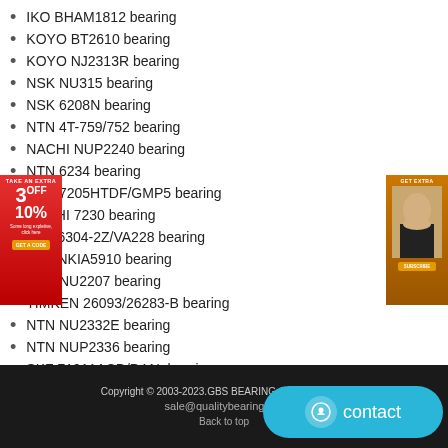IKO BHAM1812 bearing
KOYO BT2610 bearing
KOYO NJ2313R bearing
NSK NU315 bearing
NSK 6208N bearing
NTN 4T-759/752 bearing
NACHI NUP2240 bearing
NTN 6234 bearing
NTN 7205HTDF/GMP5 bearing
NACHI 7230 bearing
SKF 6304-2Z/VA228 bearing
SKF NKIA5910 bearing
NTN NU2207 bearing
TIMKEN 26093/26283-B bearing
NTN NU2332E bearing
NTN NUP2336 bearing
SKF 71911ACD/P4AL bearing
Copyright © 2003-2023.GBS BEARING All rights reserved  sale@qualitybearing.org  Back to top